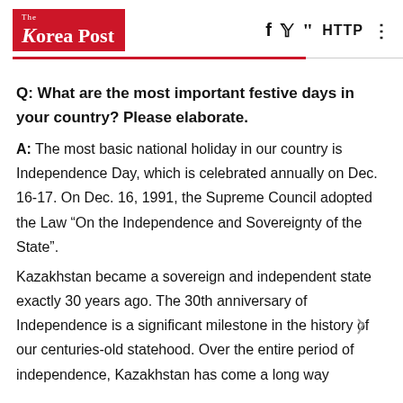The Korea Post
Q: What are the most important festive days in your country? Please elaborate.
A: The most basic national holiday in our country is Independence Day, which is celebrated annually on Dec. 16-17. On Dec. 16, 1991, the Supreme Council adopted the Law “On the Independence and Sovereignty of the State”.
Kazakhstan became a sovereign and independent state exactly 30 years ago. The 30th anniversary of Independence is a significant milestone in the history of our centuries-old statehood. Over the entire period of independence, Kazakhstan has come a long way.